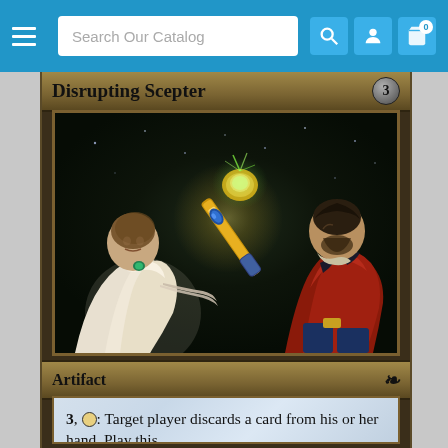Search Our Catalog  [hamburger menu] [search icon] [user icon] [cart icon 0]
[Figure (illustration): Magic: The Gathering card 'Disrupting Scepter' — a trading card game card showing two figures, one in white robes and one in a red coat, with a glowing golden scepter between them. Card type: Artifact. Set symbol: 7th Edition lightning bolt. Rules text: 3, tap: Target player discards a card from his or her hand. Play this]
Disrupting Scepter
Artifact
3, {T}: Target player discards a card from his or her hand. Play this